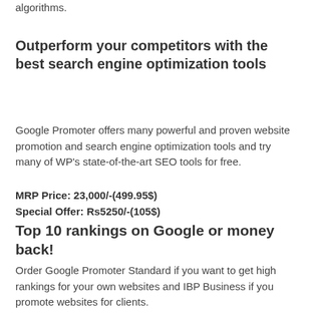algorithms.
Outperform your competitors with the best search engine optimization tools
Google Promoter offers many powerful and proven website promotion and search engine optimization tools and try many of WP's state-of-the-art SEO tools for free.
MRP Price: 23,000/-(499.95$)
Special Offer: Rs5250/-(105$)
Top 10 rankings on Google or money back!
Order Google Promoter Standard if you want to get high rankings for your own websites and IBP Business if you promote websites for clients.